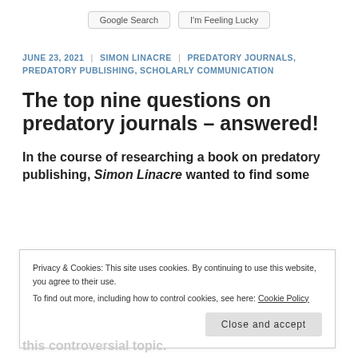Google Search | I'm Feeling Lucky
JUNE 23, 2021 | SIMON LINACRE | PREDATORY JOURNALS, PREDATORY PUBLISHING, SCHOLARLY COMMUNICATION
The top nine questions on predatory journals – answered!
In the course of researching a book on predatory publishing, Simon Linacre wanted to find some
Privacy & Cookies: This site uses cookies. By continuing to use this website, you agree to their use.
To find out more, including how to control cookies, see here: Cookie Policy
Close and accept
this controversial topic.